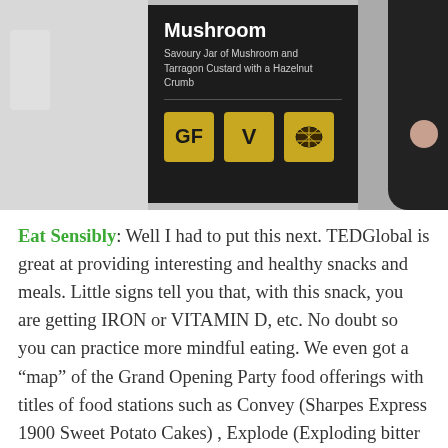[Figure (photo): Photo of a black menu sign for 'Mushroom - Savoury Jar of Mushroom and Tarragon Custard with a Hazelnut Crumb' with three gold/yellow badges showing GF, V, and a nut/peanut icon, against a grey background with a person partially visible on the right.]
Eat Sensibly: Well I had to put this next. TEDGlobal is great at providing interesting and healthy snacks and meals. Little signs tell you that, with this snack, you are getting IRON or VITAMIN D, etc. No doubt so you can practice more mindful eating. We even got a “map” of the Grand Opening Party food offerings with titles of food stations such as Convey (Sharpes Express 1900 Sweet Potato Cakes) , Explode (Exploding bitter dark chocolate with granite shots), Honeycomb